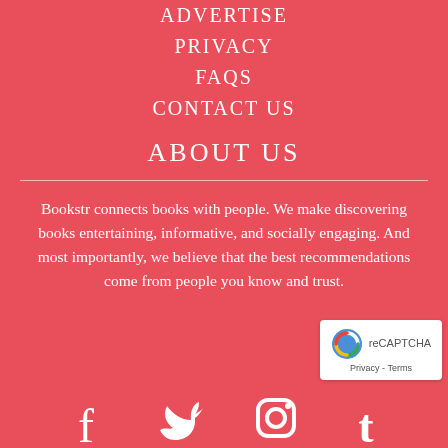ADVERTISE
PRIVACY
FAQS
CONTACT US
ABOUT US
Bookstr connects books with people. We make discovering books entertaining, informative, and socially engaging. And most importantly, we believe that the best recommendations come from people you know and trust.
[Figure (logo): reCAPTCHA logo badge with text Privacy - Terms]
[Figure (illustration): Social media icons row: Facebook, Twitter, Instagram, Tumblr]